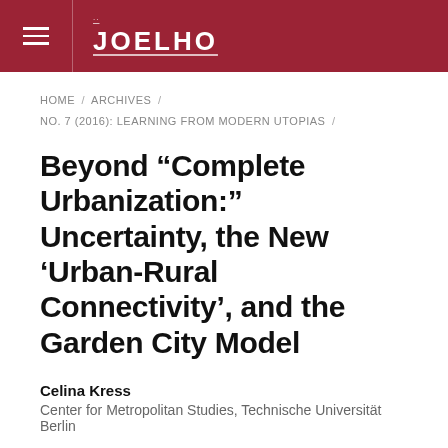JOELHO
HOME / ARCHIVES / NO. 7 (2016): LEARNING FROM MODERN UTOPIAS /
Beyond “Complete Urbanization:” Uncertainty, the New ‘Urban-Rural Connectivity’, and the Garden City Model
Celina Kress
Center for Metropolitan Studies, Technische Universität Berlin
DOI: https://doi.org/10.14195/1647-8681.7.6